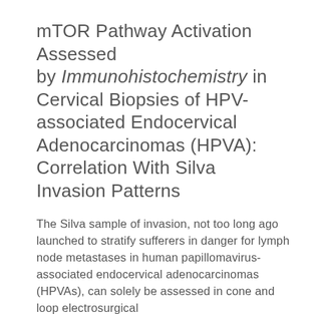mTOR Pathway Activation Assessed by Immunohistochemistry in Cervical Biopsies of HPV-associated Endocervical Adenocarcinomas (HPVA): Correlation With Silva Invasion Patterns
The Silva sample of invasion, not too long ago launched to stratify sufferers in danger for lymph node metastases in human papillomavirus-associated endocervical adenocarcinomas (HPVAs), can solely be assessed in cone and loop electrosurgical...